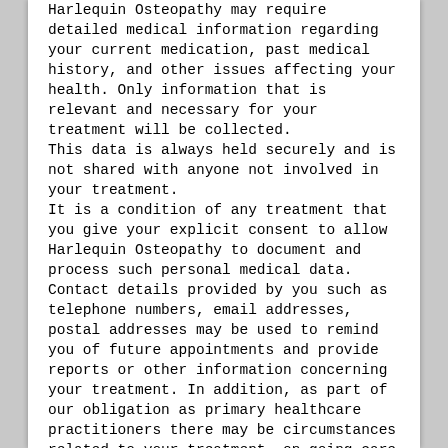Harlequin Osteopathy may require detailed medical information regarding your current medication, past medical history, and other issues affecting your health. Only information that is relevant and necessary for your treatment will be collected.
This data is always held securely and is not shared with anyone not involved in your treatment.
It is a condition of any treatment that you give your explicit consent to allow Harlequin Osteopathy to document and process such personal medical data.
Contact details provided by you such as telephone numbers, email addresses, postal addresses may be used to remind you of future appointments and provide reports or other information concerning your treatment. In addition, as part of our obligation as primary healthcare practitioners there may be circumstances related to your treatment, on-going care or medical diagnosis that will require the sharing of your medical records with other healthcare practitioners e.g GPs, consultants, surgeons and/or medical insurance companies. Where this is